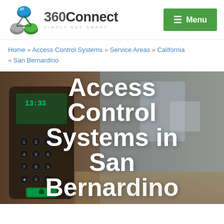[Figure (logo): 360Connect logo with circular icon (blue/green/grey spheres) and text '360Connect SIMPLY BUY SMART']
Menu
Home » Access Control Systems » Service Areas » California » San Bernardino
[Figure (photo): Hero image of an access control keypad/biometric reader device on the left, blurred hallway on the right, with large white text overlay reading 'Access Control Systems in San Bernardino']
Access Control Systems in San Bernardino